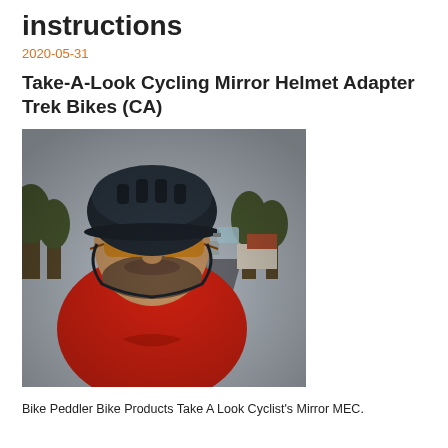instructions
2020-05-31
Take-A-Look Cycling Mirror Helmet Adapter Trek Bikes (CA)
[Figure (photo): A cyclist wearing a dark helmet and orange tinted sunglasses and a red Under Armour jersey, taking a selfie from a low angle. A road and trees are visible in the background.]
Bike Peddler Bike Products Take A Look Cyclist's Mirror MEC.